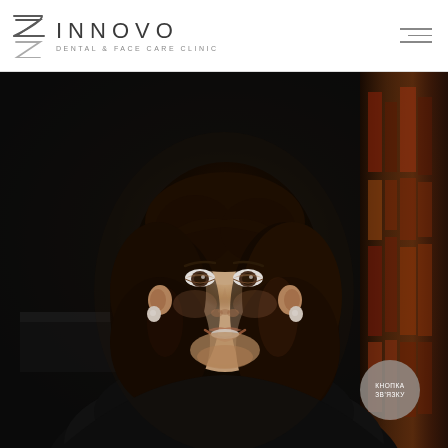INNOVO DENTAL & FACE CARE CLINIC
[Figure (photo): Portrait photo of a young woman with long dark curly hair, wearing a dark top, smiling, on a dark background with bookshelf visible on right side]
КНОПКА ЗВ'ЯЗКУ